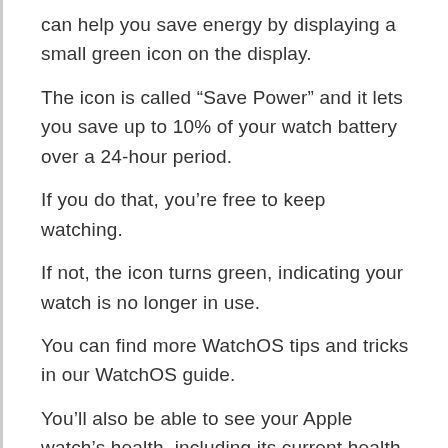can help you save energy by displaying a small green icon on the display.
The icon is called “Save Power” and it lets you save up to 10% of your watch battery over a 24-hour period.
If you do that, you’re free to keep watching.
If not, the icon turns green, indicating your watch is no longer in use.
You can find more WatchOS tips and tricks in our WatchOS guide.
You’ll also be able to see your Apple watch’s health, including its current health, the battery life of your Watch, and whether it’s charging.
The Apple Watch app will show you how many minutes it’s been charging, how long it has been charging and how long your Watch has